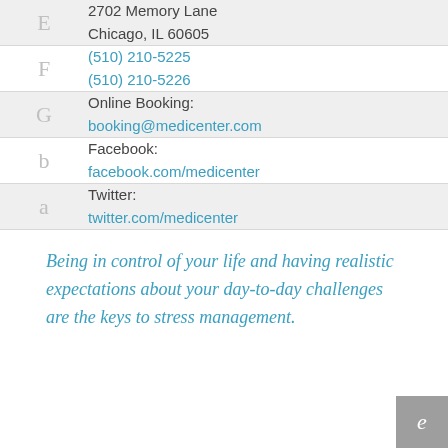| Icon | Info |
| --- | --- |
| E | 2702 Memory Lane
Chicago, IL 60605 |
| F | (510) 210-5225
(510) 210-5226 |
| G | Online Booking:
booking@medicenter.com |
| b | Facebook:
facebook.com/medicenter |
| a | Twitter:
twitter.com/medicenter |
Being in control of your life and having realistic expectations about your day-to-day challenges are the keys to stress management.